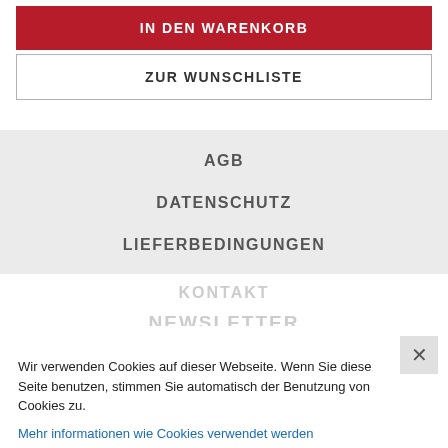IN DEN WARENKORB
ZUR WUNSCHLISTE
AGB
DATENSCHUTZ
LIEFERBEDINGUNGEN
KONTAKT
NEWSLETTER
Wir verwenden Cookies auf dieser Webseite. Wenn Sie diese Seite benutzen, stimmen Sie automatisch der Benutzung von Cookies zu.
Mehr informationen wie Cookies verwendet werden
OK